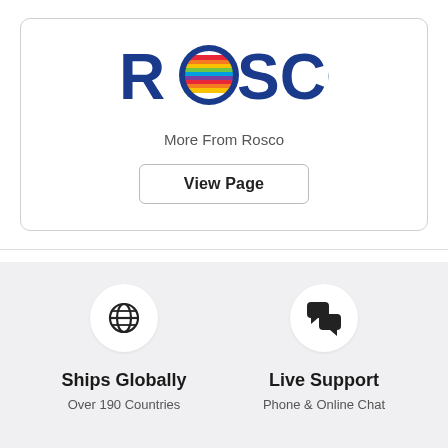[Figure (logo): Rosco logo with colorful striped globe replacing the letter O]
More From Rosco
View Page
[Figure (illustration): Globe icon inside a white circle]
Ships Globally
Over 190 Countries
[Figure (illustration): Chat bubbles icon inside a white circle]
Live Support
Phone & Online Chat